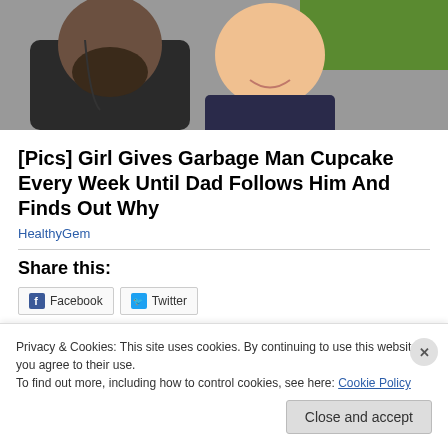[Figure (photo): Photo of a bearded man and a young smiling child together outdoors with green grass in background]
[Pics] Girl Gives Garbage Man Cupcake Every Week Until Dad Follows Him And Finds Out Why
HealthyGem
Share this:
Facebook  Twitter
Privacy & Cookies: This site uses cookies. By continuing to use this website, you agree to their use.
To find out more, including how to control cookies, see here: Cookie Policy
Close and accept